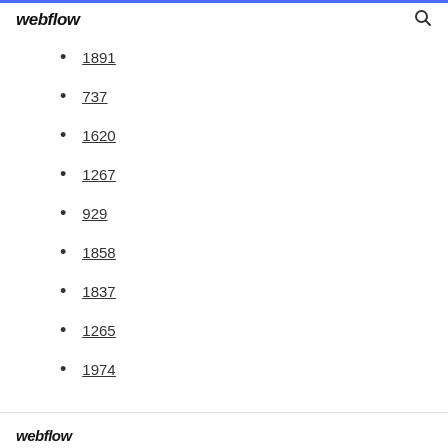webflow
1891
737
1620
1267
929
1858
1837
1265
1974
webflow